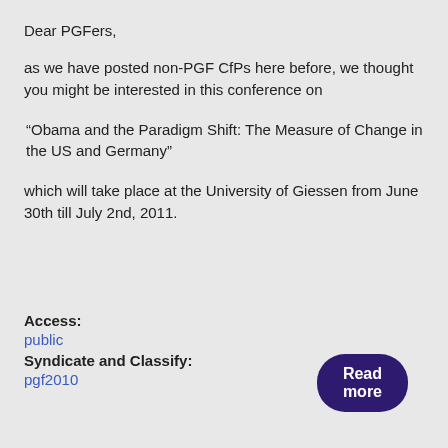Dear PGFers,
as we have posted non-PGF CfPs here before, we thought you might be interested in this conference on
“Obama and the Paradigm Shift: The Measure of Change in the US and Germany”
which will take place at the University of Giessen from June 30th till July 2nd, 2011.
Access: public
Syndicate and Classify: pgf2010
Read more